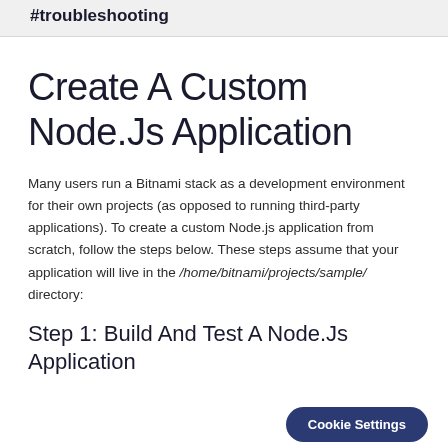Troubleshooting
Create A Custom Node.Js Application
Many users run a Bitnami stack as a development environment for their own projects (as opposed to running third-party applications). To create a custom Node.js application from scratch, follow the steps below. These steps assume that your application will live in the /home/bitnami/projects/sample/ directory:
Step 1: Build And Test A Node.Js Application